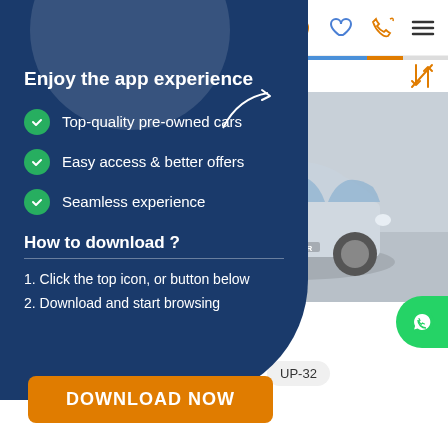[Figure (screenshot): Cars24 mobile app website screenshot showing a car listing page for a 2017 Honda Jazz 1.2 V MT with an app download overlay panel on a dark blue background]
Enjoy the app experience
Top-quality pre-owned cars
Easy access & better offers
Seamless experience
How to download ?
1. Click the top icon, or button below
2. Download and start browsing
DOWNLOAD NOW
2017 Honda Jazz 1.2 V MT
15,241 km
1st owner
Petrol
UP-32